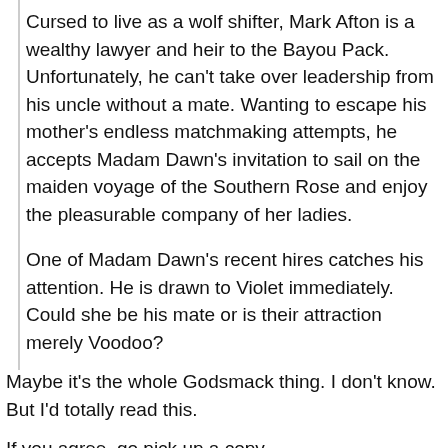Cursed to live as a wolf shifter, Mark Afton is a wealthy lawyer and heir to the Bayou Pack. Unfortunately, he can't take over leadership from his uncle without a mate. Wanting to escape his mother's endless matchmaking attempts, he accepts Madam Dawn's invitation to sail on the maiden voyage of the Southern Rose and enjoy the pleasurable company of her ladies.
One of Madam Dawn's recent hires catches his attention. He is drawn to Violet immediately. Could she be his mate or is their attraction merely Voodoo?
Maybe it's the whole Godsmack thing. I don't know. But I'd totally read this.
If you agree, go pick up a copy.